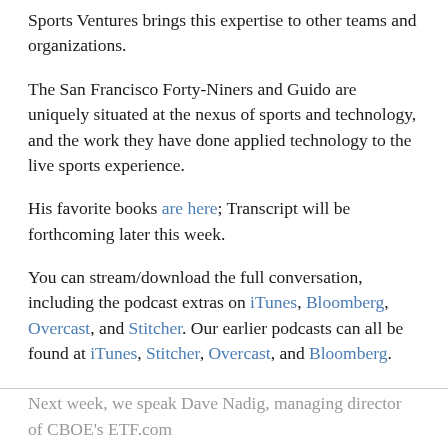Sports Ventures brings this expertise to other teams and organizations.
The San Francisco Forty-Niners and Guido are uniquely situated at the nexus of sports and technology, and the work they have done applied technology to the live sports experience.
His favorite books are here; Transcript will be forthcoming later this week.
You can stream/download the full conversation, including the podcast extras on iTunes, Bloomberg, Overcast, and Stitcher. Our earlier podcasts can all be found at iTunes, Stitcher, Overcast, and Bloomberg.
Next week, we speak Dave Nadig, managing director of CBOE's ETF.com